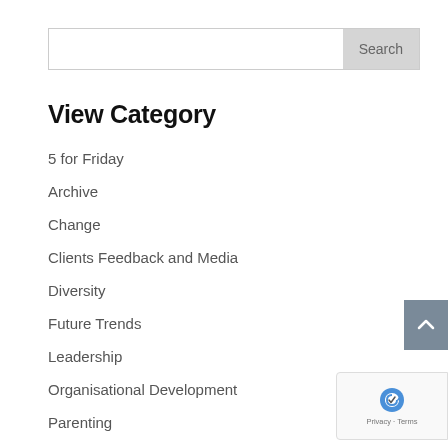[Figure (screenshot): Search input box with a Search button on the right]
View Category
5 for Friday
Archive
Change
Clients Feedback and Media
Diversity
Future Trends
Leadership
Organisational Development
Parenting
Throw Forward Thursday
Tuesday Tips